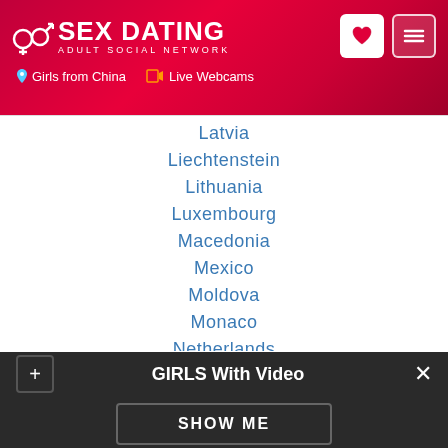SEX DATING ADULT SOCIAL NETWORK | Girls from China | Live Webcams
Latvia
Liechtenstein
Lithuania
Luxembourg
Macedonia
Mexico
Moldova
Monaco
Netherlands
New Zealand
North Korea
Norway
Other
GIRLS With Video — SHOW ME